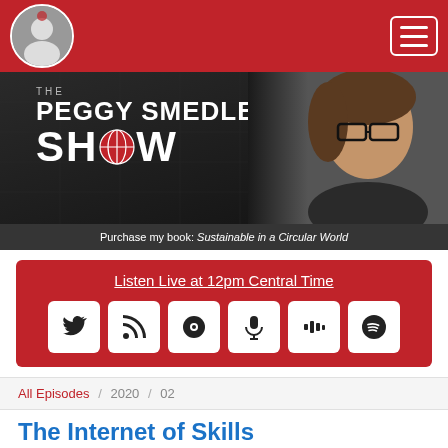[Figure (screenshot): Navigation bar with podcast logo avatar, red background, and hamburger menu icon]
[Figure (photo): The Peggy Smedley Show banner with host photo, show title text, and book purchase strip]
Listen Live at 12pm Central Time
[Figure (infographic): Social media icon buttons row: Twitter, RSS, Spreaker, Podcast, Stitcher, Spotify]
All Episodes / 2020 / 02
The Internet of Skills
PEGGY SMEDLEY SHOW
The Internet of Skills